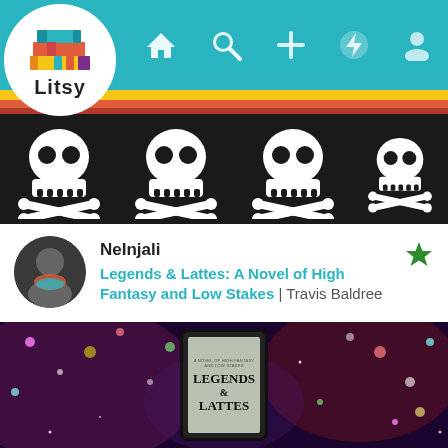[Figure (screenshot): Litsy app screenshot showing navigation bar with Litsy logo (stack of colorful books), home, search, add, flash, and profile icons on teal background, followed by colored stripes (yellow, red, dark red), a black skull-and-crossbones banner pattern, a post by user NelInjali showing 'Legends & Lattes: A Novel of High Fantasy and Low Stakes | Travis Baldree' with a green star, and a photo of an e-reader displaying the Legends & Lattes book cover against a galaxy-themed background.]
Litsy
NeInjali
Legends & Lattes: A Novel of High Fantasy and Low Stakes | Travis Baldree